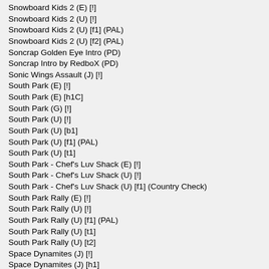Snowboard Kids 2 (E) [!]
Snowboard Kids 2 (U) [!]
Snowboard Kids 2 (U) [f1] (PAL)
Snowboard Kids 2 (U) [f2] (PAL)
Soncrap Golden Eye Intro (PD)
Soncrap Intro by RedboX (PD)
Sonic Wings Assault (J) [!]
South Park (E) [!]
South Park (E) [h1C]
South Park (G) [!]
South Park (U) [!]
South Park (U) [b1]
South Park (U) [f1] (PAL)
South Park (U) [t1]
South Park - Chef's Luv Shack (E) [!]
South Park - Chef's Luv Shack (U) [!]
South Park - Chef's Luv Shack (U) [f1] (Country Check)
South Park Rally (E) [!]
South Park Rally (U) [!]
South Park Rally (U) [f1] (PAL)
South Park Rally (U) [t1]
South Park Rally (U) [t2]
Space Dynamites (J) [!]
Space Dynamites (J) [h1]
Space Invaders (U) [!]
Space Invaders (U) [f1] (PAL)
Space Invaders (U) [t1]
Space Invaders (U) [t2]
Space Station Silicon Valley (E) (M7) [!]
Space Station Silicon Valley (E) [!]